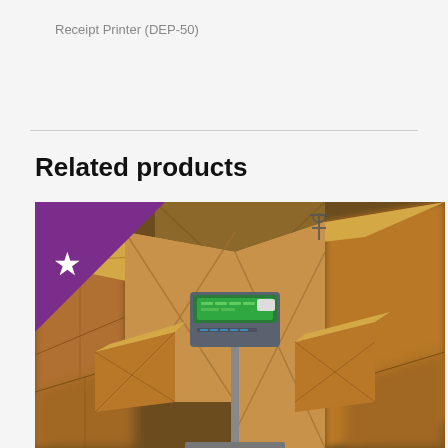Receipt Printer (DEP-50)
Related products
[Figure (photo): A warehouse weighing scale/indicator on a pole stand surrounded by large cardboard boxes with a purple star badge in the top-left corner]